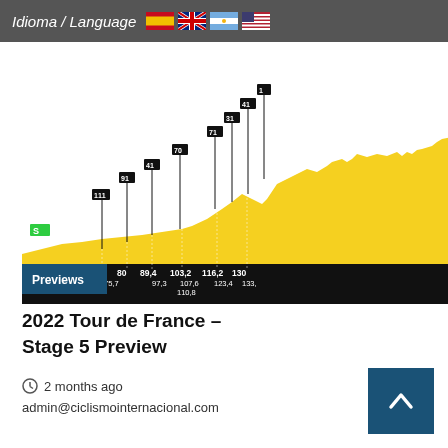Idioma / Language
[Figure (infographic): Tour de France 2022 Stage 5 route elevation profile showing intermediate sprint and climb markers with location names and distances. Yellow profile with black background bar at bottom showing distances: 68.2, 80, 89.4, 103.2, 116.2, 130 and sub-distances 75.7, 97.3, 107.6, 110.8, 123.4, 133. A blue 'Previews' button is overlaid on the left side of the chart.]
2022 Tour de France – Stage 5 Preview
2 months ago
admin@ciclismointernacional.com